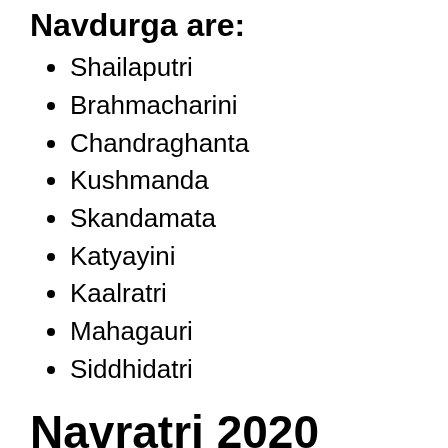Navdurga are:
Shailaputri
Brahmacharini
Chandraghanta
Kushmanda
Skandamata
Katyayini
Kaalratri
Mahagauri
Siddhidatri
Navratri 2020 Colours With the Significance of the Dates